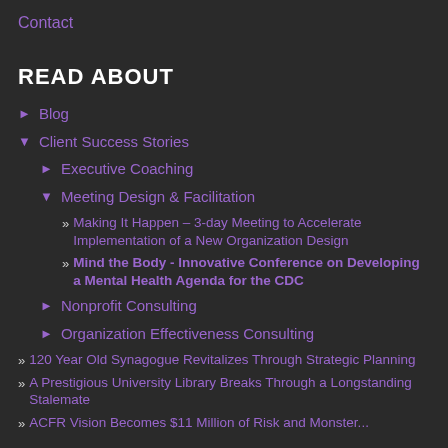Contact
READ ABOUT
► Blog
▼ Client Success Stories
► Executive Coaching
▼ Meeting Design & Facilitation
» Making It Happen – 3-day Meeting to Accelerate Implementation of a New Organization Design
» Mind the Body - Innovative Conference on Developing a Mental Health Agenda for the CDC
► Nonprofit Consulting
► Organization Effectiveness Consulting
» 120 Year Old Synagogue Revitalizes Through Strategic Planning
» A Prestigious University Library Breaks Through a Longstanding Stalemate
» ACFR Vision Becomes $11 Million of Risk and Monster...